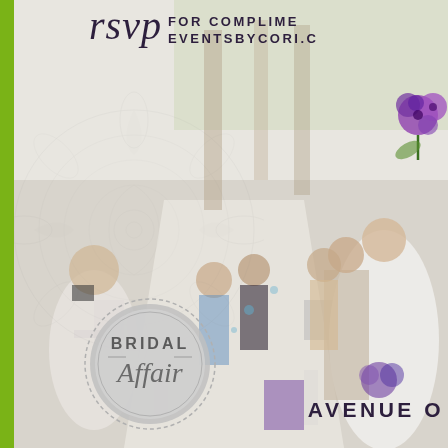[Figure (photo): Wedding ceremony photo showing bride walking down the aisle with guests seated on either side, outdoor setting with trees in background. Left portion shows decorative mandala watermark overlay.]
rsvp FOR COMPLIME
EVENTSBYCORI.C
[Figure (logo): Circular badge/stamp logo reading 'BRIDAL Affair' in gray tones]
AVENUE O